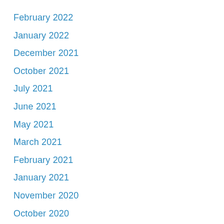February 2022
January 2022
December 2021
October 2021
July 2021
June 2021
May 2021
March 2021
February 2021
January 2021
November 2020
October 2020